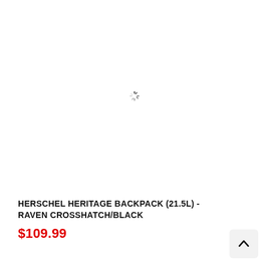[Figure (other): Product image area showing a loading spinner icon (spinning wheel) in the center of a white background, indicating image is loading]
HERSCHEL HERITAGE BACKPACK (21.5L) - RAVEN CROSSHATCH/BLACK
$109.99